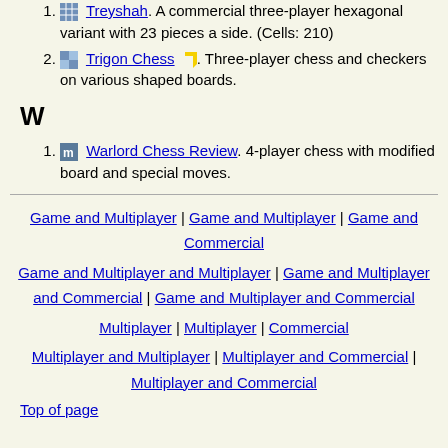Treyshah. A commercial three-player hexagonal variant with 23 pieces a side. (Cells: 210)
Trigon Chess. Three-player chess and checkers on various shaped boards.
W
Warlord Chess Review. 4-player chess with modified board and special moves.
Game and Multiplayer | Game and Multiplayer | Game and Commercial
Game and Multiplayer and Multiplayer | Game and Multiplayer and Commercial | Game and Multiplayer and Commercial
Multiplayer | Multiplayer | Commercial
Multiplayer and Multiplayer | Multiplayer and Commercial | Multiplayer and Commercial
Top of page